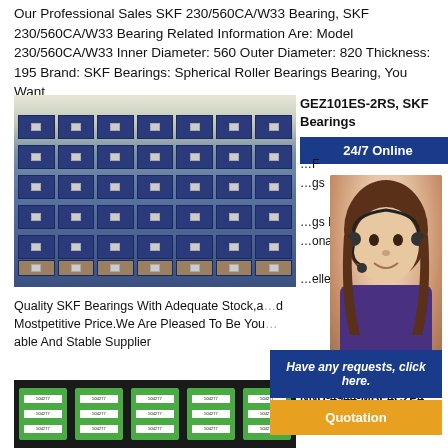Our Professional Sales SKF 230/560CA/W33 Bearing, SKF 230/560CA/W33 Bearing Related Information Are: Model 230/560CA/W33 Inner Diameter: 560 Outer Diameter: 820 Thickness: 195 Brand: SKF Bearings: Spherical Roller Bearings Bearing, You Want
[Figure (photo): Warehouse with stacked blue bearing boxes on pallets, industrial storage facility]
GEZ101ES-2RS, SKF Bearings
[Figure (infographic): 24/7 Online chat widget with female customer service agent wearing headset, 'Have any requests, click here.' text and Quotation button]
Quality SKF Bearings With Adequate Stock,and Mostpetitive Price.We Are Pleased To Be Your Reliable And Stable Supplier
[Figure (photo): Green packaged bearing product boxes with white labels showing product number 504277]
NNU-4944-MBE4C2P4, KOYO